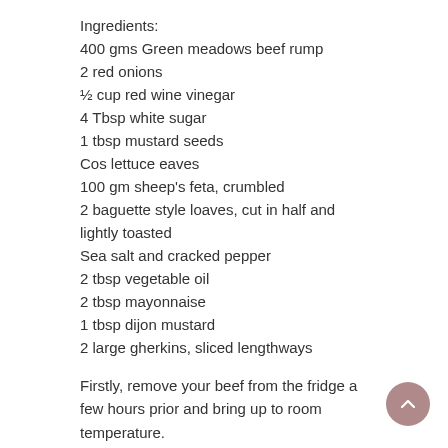Ingredients:
400 gms Green meadows beef rump
2 red onions
½ cup red wine vinegar
4 Tbsp white sugar
1 tbsp mustard seeds
Cos lettuce eaves
100 gm sheep's feta, crumbled
2 baguette style loaves, cut in half and lightly toasted
Sea salt and cracked pepper
2 tbsp vegetable oil
2 tbsp mayonnaise
1 tbsp dijon mustard
2 large gherkins, sliced lengthways
Firstly, remove your beef from the fridge a few hours prior and bring up to room temperature.